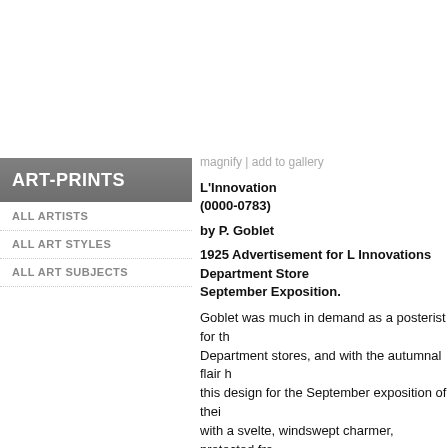ART-PRINTS
ALL ARTISTS
ALL ART STYLES
ALL ART SUBJECTS
magnify | add to gallery
L'Innovation (0000-0783)
by P. Goblet
1925 Advertisement for L Innovations Department Store September Exposition.
Goblet was much in demand as a posterist for the Department stores, and with the autumnal flair he created this design for the September exposition of their store with a svelte, windswept charmer, protected from ... her stole and fur-trimmed, velvet wrap, its easy ... Rare!